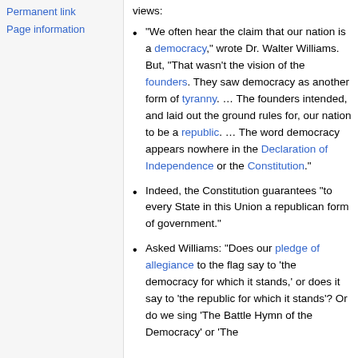Permanent link
Page information
views:
"We often hear the claim that our nation is a democracy," wrote Dr. Walter Williams. But, "That wasn't the vision of the founders. They saw democracy as another form of tyranny. … The founders intended, and laid out the ground rules for, our nation to be a republic. … The word democracy appears nowhere in the Declaration of Independence or the Constitution."
Indeed, the Constitution guarantees "to every State in this Union a republican form of government."
Asked Williams: "Does our pledge of allegiance to the flag say to 'the democracy for which it stands,' or does it say to 'the republic for which it stands'? Or do we sing 'The Battle Hymn of the Democracy' or 'The